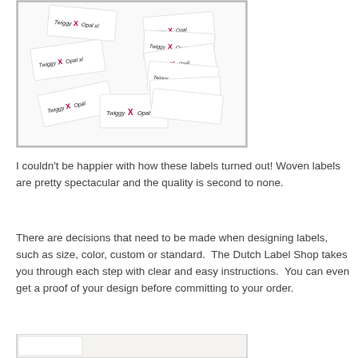[Figure (photo): Photo of multiple white woven clothing labels with 'Twiggy X Opal' branding, scattered on a white surface]
I couldn't be happier with how these labels turned out! Woven labels are pretty spectacular and the quality is second to none.
There are decisions that need to be made when designing labels, such as size, color, custom or standard.  The Dutch Label Shop takes you through each step with clear and easy instructions.  You can even get a proof of your design before committing to your order.
[Figure (photo): Partial photo of white woven labels, bottom of page]